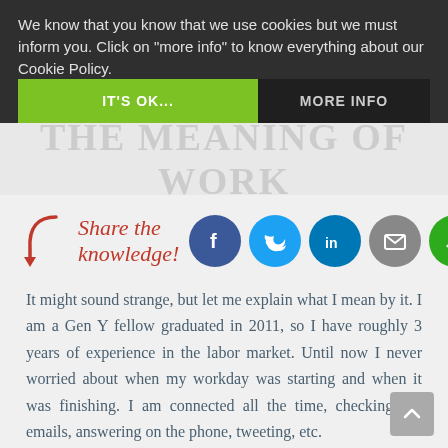We know that you know that we use cookies but we must inform you. Click on "more info" to know everything about our Cookie Policy.
IT'S OK...
MORE INFO
[Figure (infographic): Share the knowledge! with a red curved arrow pointing to social media icons: Facebook (blue), Twitter (light blue), LinkedIn (dark blue), Email (grey), Share (green)]
It might sound strange, but let me explain what I mean by it. I am a Gen Y fellow graduated in 2011, so I have roughly 3 years of experience in the labor market. Until now I never worried about when my workday was starting and when it was finishing. I am connected all the time, checking my emails, answering on the phone, tweeting, etc.
Moreover I only have one mobile number